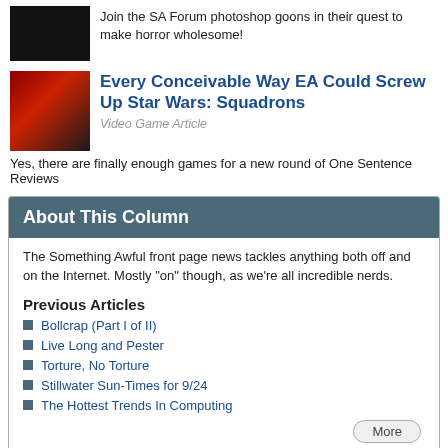Join the SA Forum photoshop goons in their quest to make horror wholesome!
Every Conceivable Way EA Could Screw Up Star Wars: Squadrons
Video Game Article
Yes, there are finally enough games for a new round of One Sentence Reviews
About This Column
The Something Awful front page news tackles anything both off and on the Internet. Mostly "on" though, as we're all incredible nerds.
Previous Articles
Bollcrap (Part I of II)
Live Long and Pester
Torture, No Torture
Stillwater Sun-Times for 9/24
The Hottest Trends In Computing
Suggested Articles
Best of The Weekend Web volume 6
Best of The Weekend Web volume 8